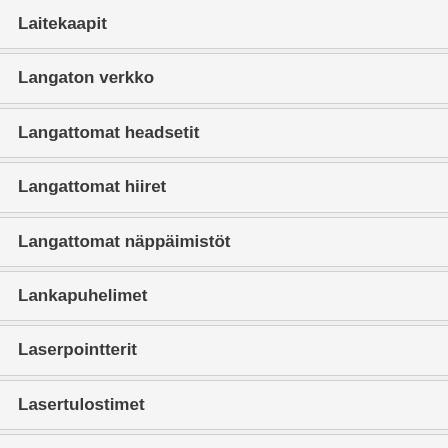Laitekaapit
Langaton verkko
Langattomat headsetit
Langattomat hiiret
Langattomat näppäimistöt
Lankapuhelimet
Laserpointterit
Lasertulostimet
Latauskaapelit